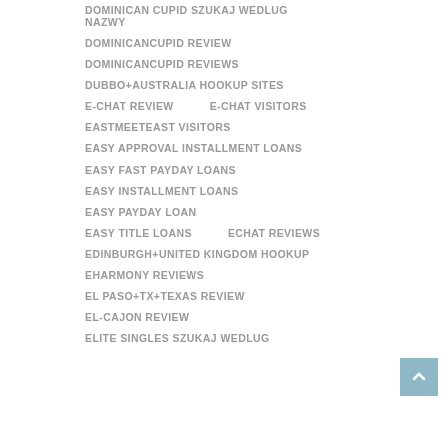DOMINICAN CUPID SZUKAJ WEDLUG NAZWY
DOMINICANCUPID REVIEW
DOMINICANCUPID REVIEWS
DUBBO+AUSTRALIA HOOKUP SITES
E-CHAT REVIEW
E-CHAT VISITORS
EASTMEETEAST VISITORS
EASY APPROVAL INSTALLMENT LOANS
EASY FAST PAYDAY LOANS
EASY INSTALLMENT LOANS
EASY PAYDAY LOAN
EASY TITLE LOANS
ECHAT REVIEWS
EDINBURGH+UNITED KINGDOM HOOKUP
EHARMONY REVIEWS
EL PASO+TX+TEXAS REVIEW
EL-CAJON REVIEW
ELITE SINGLES SZUKAJ WEDLUG